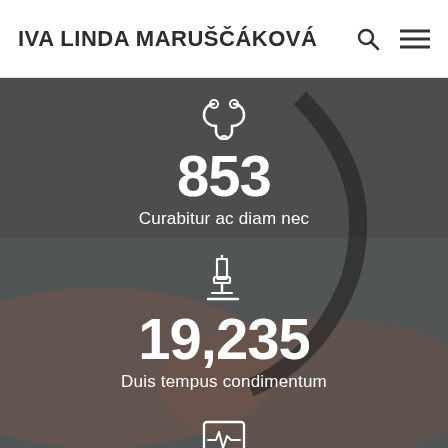IVA LINDA MARUŠČÁKOVÁ
[Figure (photo): Medical background photo showing a doctor with stethoscope and patient hands with blood pressure monitor, dark blurred]
853
Curabitur ac diam nec
19,235
Duis tempus condimentum